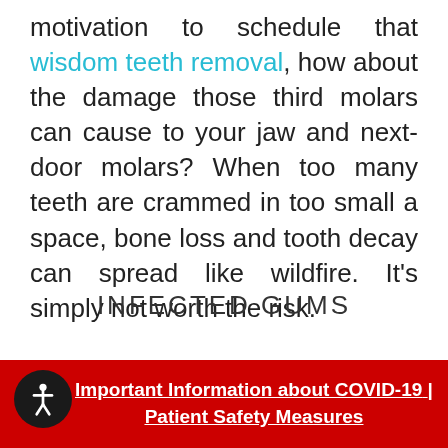motivation to schedule that wisdom teeth removal, how about the damage those third molars can cause to your jaw and next-door molars? When too many teeth are crammed in too small a space, bone loss and tooth decay can spread like wildfire. It's simply not worth the risk.
INFECTED GUMS
Teeth and bone aren't the only ones in jeopardy when it comes to impacted wisdom teeth. Our gums often get caught in the
Important Information about COVID-19 | Patient Safety Measures